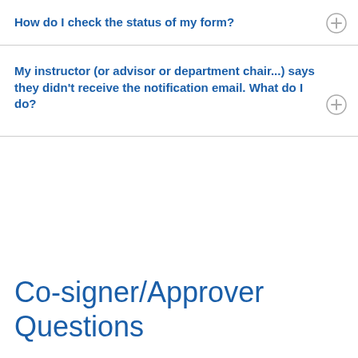How do I check the status of my form?
My instructor (or advisor or department chair...) says they didn't receive the notification email. What do I do?
Co-signer/Approver Questions